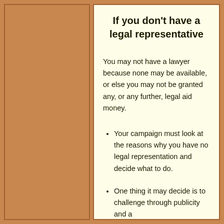If you don't have a legal representative
You may not have a lawyer because none may be available, or else you may not be granted any, or any further, legal aid money.
Your campaign must look at the reasons why you have no legal representation and decide what to do.
One thing it may decide is to challenge through publicity and a